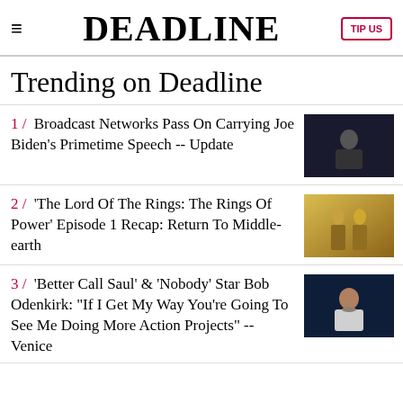≡  DEADLINE  TIP US
Trending on Deadline
1 / Broadcast Networks Pass On Carrying Joe Biden's Primetime Speech -- Update
2 / 'The Lord Of The Rings: The Rings Of Power' Episode 1 Recap: Return To Middle-earth
3 / 'Better Call Saul' & 'Nobody' Star Bob Odenkirk: "If I Get My Way You're Going To See Me Doing More Action Projects" -- Venice